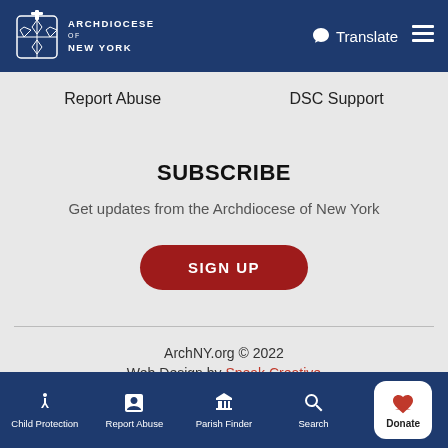Archdiocese of New York — Translate ☰
Report Abuse   DSC Support
SUBSCRIBE
Get updates from the Archdiocese of New York
SIGN UP
ArchNY.org © 2022
Web Design by Speak Creative
Child Protection   Report Abuse   Parish Finder   Search   Donate